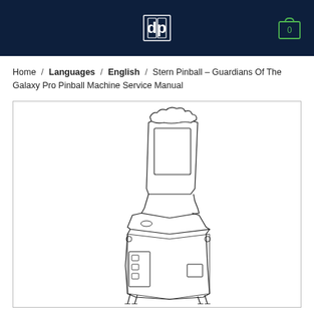dp logo and cart icon, dark navy header
Home / Languages / English / Stern Pinball – Guardians Of The Galaxy Pro Pinball Machine Service Manual
[Figure (engineering-diagram): Line drawing / schematic illustration of a pinball machine cabinet shown in isometric/3-quarter view. The cabinet shows the backbox with display screen, the main cabinet body with control panel, coin door area with panels/buttons, and bottom legs. The drawing is a simple outline/contour illustration in black on white background.]